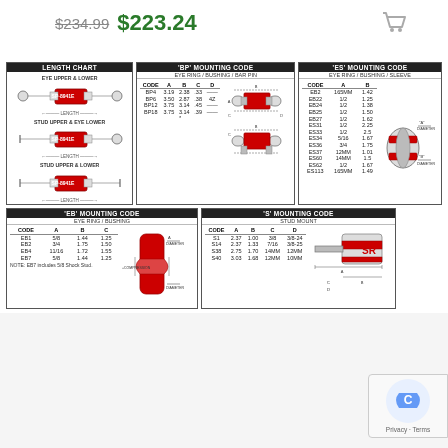$234.99  $223.24
[Figure (engineering-diagram): LENGTH CHART showing Eye Upper & Lower, Stud Upper & Eye Lower, and Stud Upper & Lower configurations with length dimension arrows]
[Figure (table-as-image): 'BP' Mounting Code table - Eye Ring / Bushing / Bar Pin with codes BP4, BP6, BP12, BP18 and dimensions A, B, C, D plus exploded diagrams]
[Figure (table-as-image): 'ES' Mounting Code table - Eye Ring / Bushing / Sleeve with codes EB2, EB22, EB24, EB25, EB27, ES31, ES33, ES34, ES36, ES37, ES60, ES62, ES113 and dimensions A, B plus diagram showing A and B diameter labels]
[Figure (table-as-image): 'EB' Mounting Code table - Eye Ring / Bushing with codes EB1, EB2, EB4, EB7 and dimensions A, B, C plus bushing diagram. NOTE: EB7 includes 5/8 Shock Stud.]
[Figure (table-as-image): 'S' Mounting Code table - Stud Mount with codes S1, S14, S38, S40 and dimensions A, B, C, D plus diagram]